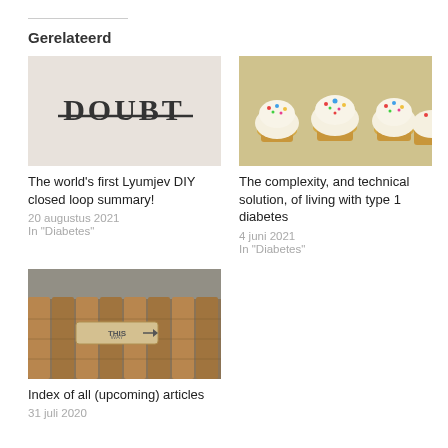Gerelateerd
[Figure (photo): Image showing the word DOUBT in large serif text with strikethrough on a beige/taupe background]
The world's first Lyumjev DIY closed loop summary!
20 augustus 2021
In "Diabetes"
[Figure (photo): Photo of several vanilla cupcakes with white frosting and colorful sprinkles]
The complexity, and technical solution, of living with type 1 diabetes
4 juni 2021
In "Diabetes"
[Figure (photo): Photo of a wooden fence with a 'This Way' arrow sign]
Index of all (upcoming) articles
31 juli 2020